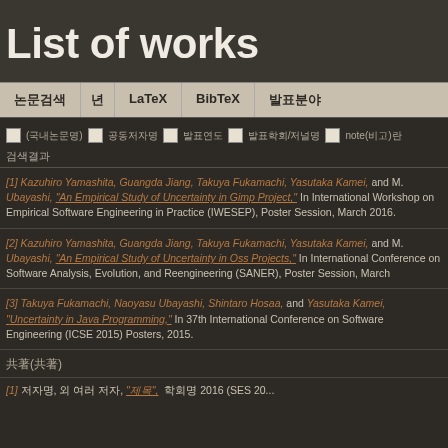List of works
| 논문검색 | 년 | LaTeX | BibTeX | 발표분야 |
| --- | --- | --- | --- | --- |
□ (국내논문명) □ 공동저자명 □ 발표연도 □ 발표학회/저널명 □ note(비고)란
검색결과
[1] Kazuhiro Yamashita, Guangda Jiang, Takuya Fukamachi, Yasutaka Kamei, and M. Ubayashi, "An Empirical Study of Uncertainty in Gimp Project," In International Workshop on Empirical Software Engineering in Practice (IWESEP), Poster Session, March 2016.
[2] Kazuhiro Yamashita, Guangda Jiang, Takuya Fukamachi, Yasutaka Kamei, and M. Ubayashi, "An Empirical Study of Uncertainty in Oss Projects," In International Conference on Software Analysis, Evolution, and Reengineering (SANER), Poster Session, March
[3] Takuya Fukamachi, Naoyasu Ubayashi, Shintaro Hosaa, and Yasutaka Kamei, "Uncertainty in Java Programming," In 37th International Conference on Software Engineering (ICSE 2015) Posters, 2015.
共著(共著)
[1] 저자명, 외 여러 저자, "제목",  학회명 2016 (SES 20...